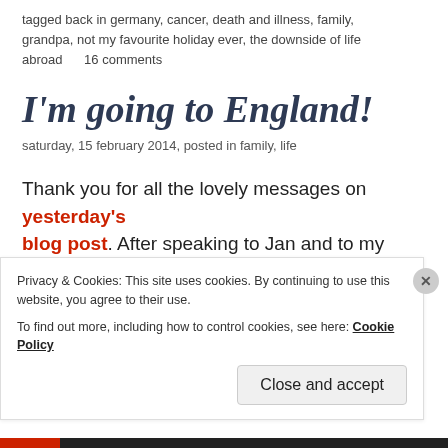tagged back in germany, cancer, death and illness, family, grandpa, not my favourite holiday ever, the downside of life abroad     16 comments
I'm going to England!
saturday, 15 february 2014, posted in family, life
Thank you for all the lovely messages on yesterday's blog post. After speaking to Jan and to my dad, I decided to ask for time off work and book the first flight to England I could find, attention off
Privacy & Cookies: This site uses cookies. By continuing to use this website, you agree to their use.
To find out more, including how to control cookies, see here: Cookie Policy
Close and accept